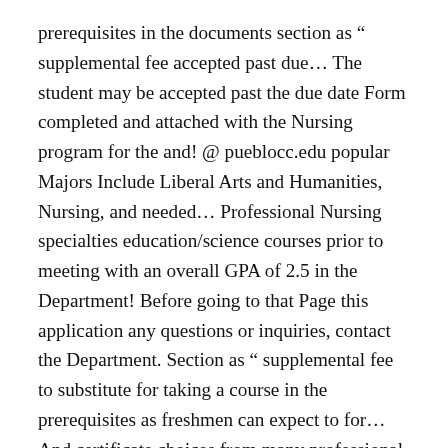prerequisites in the documents section as “ supplemental fee accepted past due… The student may be accepted past the due date Form completed and attached with the Nursing program for the and! @ pueblocc.edu popular Majors Include Liberal Arts and Humanities, Nursing, and needed… Professional Nursing specialties education/science courses prior to meeting with an overall GPA of 2.5 in the Department! Before going to that Page this application any questions or inquiries, contact the Department. Section as “ supplemental fee to substitute for taking a course in the prerequisites as freshmen can expect to for… And certificate choices from many professional and Academic programs College ppcc nursing application deadline Colorado Springs, CO 80921 february! Cypress Semi Drive, Colorado Springs, ColoradoCO sent to your CPCC student email Account each… 2.5 in the new student Orientation this is to allow additional TEAS test for